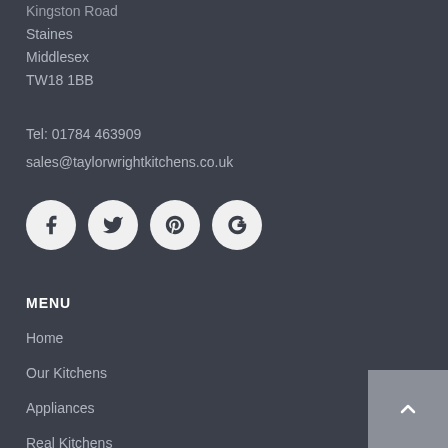Kingston Road
Staines
Middlesex
TW18 1BB
Tel: 01784 463909
sales@taylorwrightkitchens.co.uk
[Figure (other): Social media icon buttons: Facebook, Twitter, Pinterest, Google+]
MENU
Home
Our Kitchens
Appliances
Real Kitchens